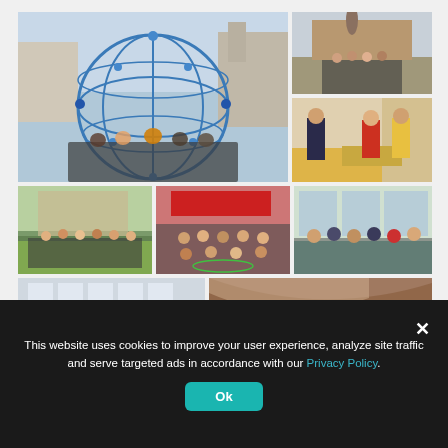[Figure (photo): Group of students posing inside a large blue globe/sphere sculpture in a city square with historic church in background]
[Figure (photo): Group photo of students in front of a brick building with a bronze equestrian statue]
[Figure (photo): Indoor scene with two people standing at a reception desk or counter, someone in yellow jacket]
[Figure (photo): Group of students on a green lawn with a cathedral or palace in the background]
[Figure (photo): Students seated/gathered indoors in front of a red banner]
[Figure (photo): Students seated in a workshop or presentation room, with a presenter]
[Figure (photo): Interior room with people, bright windows]
[Figure (photo): Architectural interior shot, curved ceiling or ramp structure]
This website uses cookies to improve your user experience, analyze site traffic and serve targeted ads in accordance with our Privacy Policy.